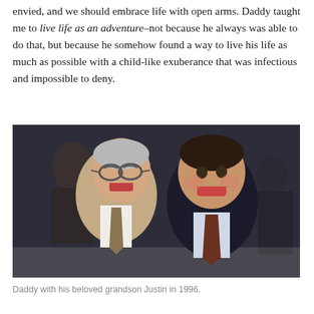envied, and we should embrace life with open arms. Daddy taught me to live life as an adventure–not because he always was able to do that, but because he somehow found a way to live his life as much as possible with a child-like exuberance that was infectious and impossible to deny.
[Figure (photo): A photograph of an older man (Daddy) and a young man (grandson Justin) smiling together at what appears to be a social event in 1996. The older man wears glasses and a tan suit with a tie; the younger man wears a dark suit with a patterned tie.]
Daddy with his beloved grandson Justin in 1996.